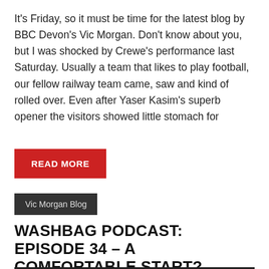It's Friday, so it must be time for the latest blog by BBC Devon's Vic Morgan. Don't know about you, but I was shocked by Crewe's performance last Saturday. Usually a team that likes to play football, our fellow railway team came, saw and kind of rolled over. Even after Yaser Kasim's superb opener the visitors showed little stomach for
READ MORE
Vic Morgan Blog
WASHBAG PODCAST: EPISODE 34 – A COMFORTABLE START?